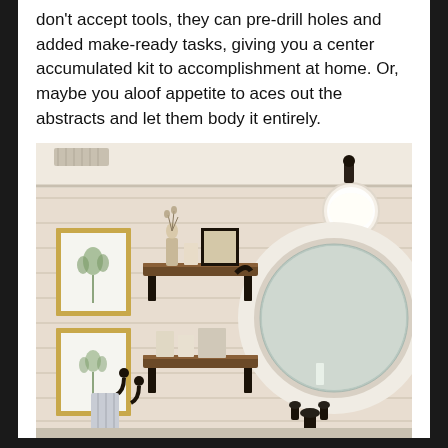don't accept tools, they can pre-drill holes and added make-ready tasks, giving you a center accumulated kit to accomplishment at home. Or, maybe you aloof appetite to aces out the abstracts and let them body it entirely.
[Figure (photo): Interior bathroom photo showing shiplap walls painted light beige/cream, two wooden floating shelves with decorative items (vases, candles, framed art), a large round mirror with ornate white frame, a wall sconce light fixture with dark metal and white globe shade, botanical art prints in gold frames on the left wall, black wall hooks with a striped towel, and dark metal faucet fixtures at the bottom.]